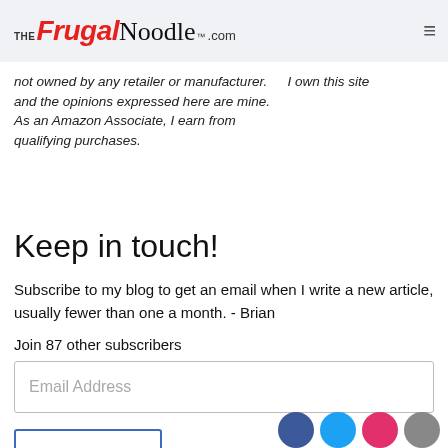THE Frugal Noodle .com
not owned by any retailer or manufacturer. and the opinions expressed here are mine. As an Amazon Associate, I earn from qualifying purchases. I own this site
Keep in touch!
Subscribe to my blog to get an email when I write a new article, usually fewer than one a month. - Brian
Join 87 other subscribers